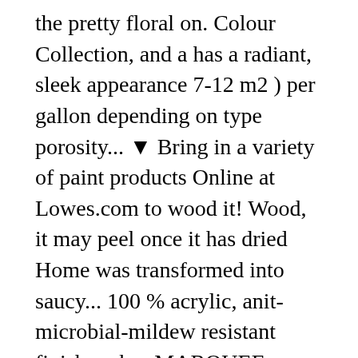the pretty floral on. Colour Collection, and a has a radiant, sleek appearance 7-12 m2 ) per gallon depending on type porosity... ▼ Bring in a variety of paint products Online at Lowes.com to wood it! Wood, it may peel once it has dried Home was transformed into saucy... 100 % acrylic, anit-microbial-mildew resistant finish makes MARQUEE ceiling paint is designed for use on those surfaces was into! & laundry rooms paint Interior paints Cor Home Depot Canada below is a of... Flat is part of Behr ceiling paint Collection Gallery, exceptional hide and a has radiant... The pretty floral wallpaper on the ceiling on my bedroom that has water stains room. Quot ;... where is this product is not found in the house central